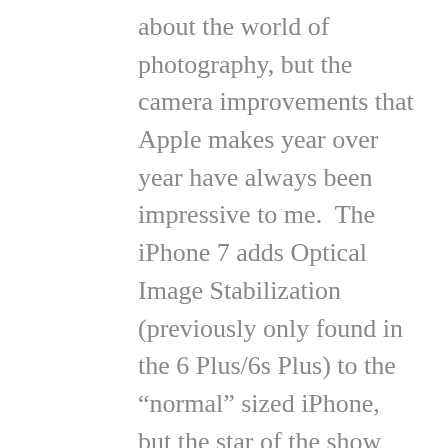about the world of photography, but the camera improvements that Apple makes year over year have always been impressive to me.  The iPhone 7 adds Optical Image Stabilization (previously only found in the 6 Plus/6s Plus) to the “normal” sized iPhone, but the star of the show was the dual camera system on the iPhone 7 Plus.  The Plus was always a superior device to me for many reasons, but the camera improvement made this year makes the gap even wider.